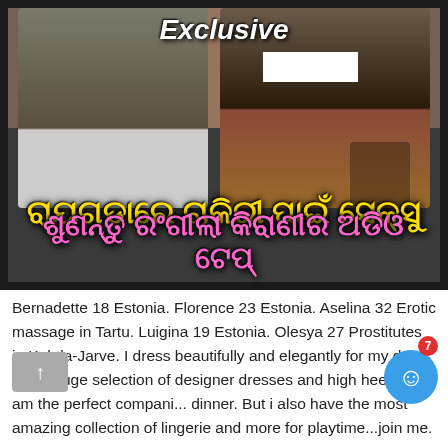[Figure (screenshot): Video thumbnail showing two people at a press conference with Odia language text overlay and 'Exclusive' label. Yellow text on first line and pink text on second line in Odia script.]
Bernadette 18 Estonia. Florence 23 Estonia. Aselina 32 Erotic massage in Tartu. Luigina 19 Estonia. Olesya 27 Prostitutes in Kohtla-Jarve. I dress beautifully and elegantly for my dates in my huge selection of designer dresses and high heels and am the perfect compani... dinner. But i also have the most amazing collection of lingerie and more for playtime...join me.